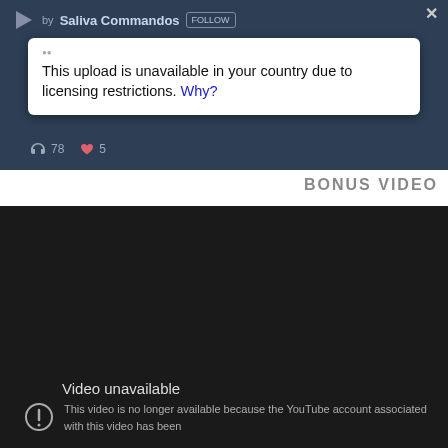[Figure (screenshot): SoundCloud-style music player UI with dark blue background showing artist 'Saliva Commandos' with a FOLLOW button, a white alert dialog saying 'This upload is unavailable in your country due to licensing restrictions. Why?' with a close X button, and stats showing 78 plays and 5 likes]
BONUS VIDEO
[Figure (screenshot): Dark YouTube-style embedded video player showing 'Video unavailable' message with warning icon and text 'This video is no longer available because the YouTube account associated with this video has been']